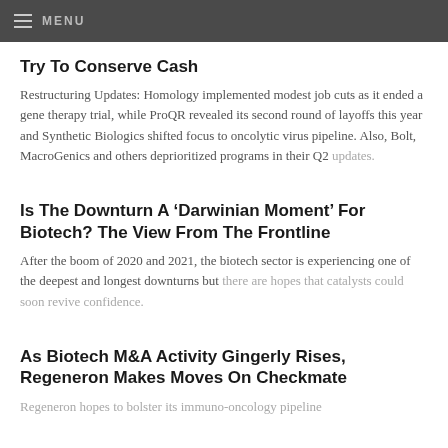MENU
Try To Conserve Cash
Restructuring Updates: Homology implemented modest job cuts as it ended a gene therapy trial, while ProQR revealed its second round of layoffs this year and Synthetic Biologics shifted focus to oncolytic virus pipeline. Also, Bolt, MacroGenics and others deprioritized programs in their Q2 updates.
Is The Downturn A ‘Darwinian Moment’ For Biotech? The View From The Frontline
After the boom of 2020 and 2021, the biotech sector is experiencing one of the deepest and longest downturns but there are hopes that catalysts could soon revive confidence.
As Biotech M&A Activity Gingerly Rises, Regeneron Makes Moves On Checkmate
Regeneron hopes to bolster its immuno-oncology pipeline